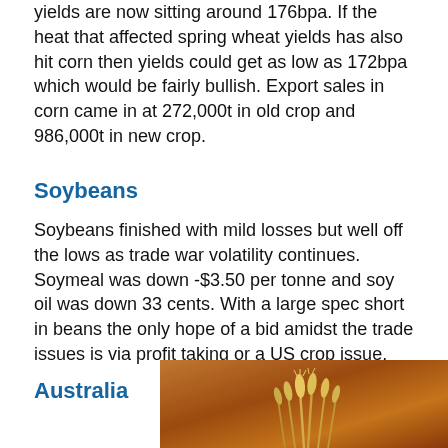yields are now sitting around 176bpa. If the heat that affected spring wheat yields has also hit corn then yields could get as low as 172bpa which would be fairly bullish. Export sales in corn came in at 272,000t in old crop and 986,000t in new crop.
Soybeans
Soybeans finished with mild losses but well off the lows as trade war volatility continues. Soymeal was down -$3.50 per tonne and soy oil was down 33 cents. With a large spec short in beans the only hope of a bid amidst the trade issues is via profit taking or a US crop issue.
Australia
[Figure (photo): An agricultural field photo showing wheat or grain stalks against a warm brown/orange earthy background, suggesting drought or dry conditions in Australia.]